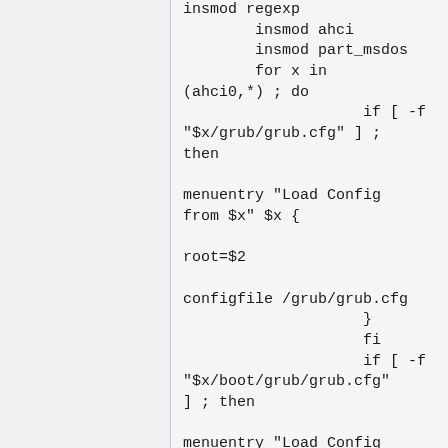insmod regexp
        insmod ahci
        insmod part_msdos
        for x in (ahci0,*) ; do
                    if [ -f "$x/grub/grub.cfg" ] ; then

menuentry "Load Config from $x" $x {

root=$2

configfile /grub/grub.cfg
                    }
                    fi
                    if [ -f "$x/boot/grub/grub.cfg" ] ; then

menuentry "Load Config from $x" $x {

root=$2